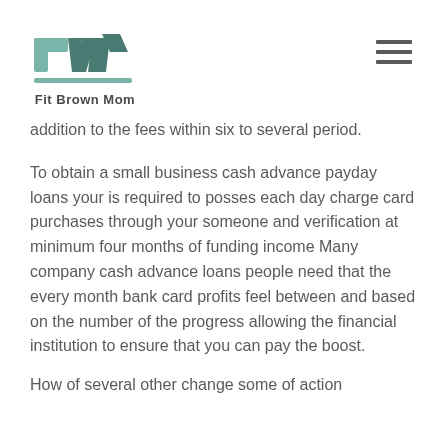Fit Brown Mom
addition to the fees within six to several period.
To obtain a small business cash advance payday loans your is required to posses each day charge card purchases through your someone and verification at minimum four months of funding income Many company cash advance loans people need that the every month bank card profits feel between and based on the number of the progress allowing the financial institution to ensure that you can pay the boost.
How of several other change some of action